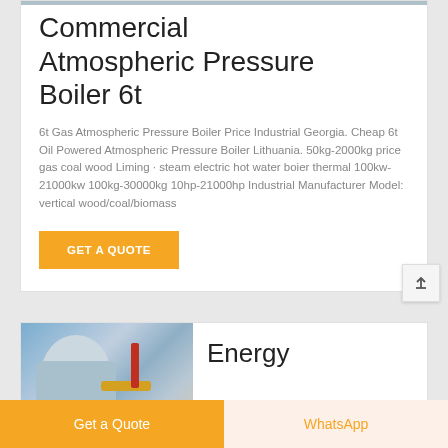Commercial Atmospheric Pressure Boiler 6t
6t Gas Atmospheric Pressure Boiler Price Industrial Georgia. Cheap 6t Oil Powered Atmospheric Pressure Boiler Lithuania. 50kg-2000kg price gas coal wood Liming · steam electric hot water boier thermal 100kw-21000kw 100kg-30000kg 10hp-21000hp Industrial Manufacturer Model: vertical wood/coal/biomass
GET A QUOTE
[Figure (photo): Industrial boiler machinery photograph]
Energy
Get a Quote
WhatsApp